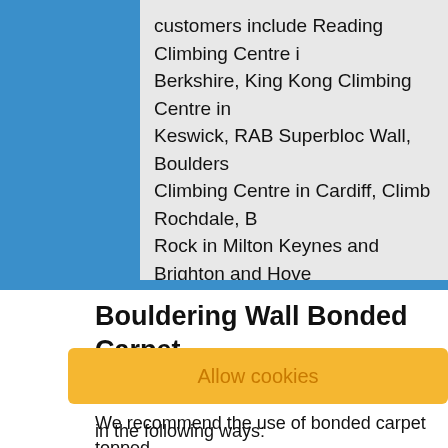customers include Reading Climbing Centre in Berkshire, King Kong Climbing Centre in Keswick, RAB Superbloc Wall, Boulders Climbing Centre in Cardiff, Climb Rochdale, B Rock in Milton Keynes and Brighton and Hove Albion FC. We have received a number of excellent reviews and testimonials of our work on these projects. Please email us by filling in our contact form if you would like more information on our services and the feedback we have received over the years.
Bouldering Wall Bonded Carpet Topped Matting Near Me
We recommend the use of bonded carpet topped
Allow cookies
in the following ways: